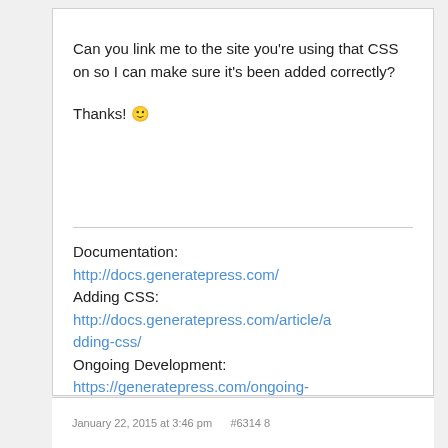Can you link me to the site you're using that CSS on so I can make sure it's been added correctly?
Thanks! 🙂
Documentation:
http://docs.generatepress.com/
Adding CSS:
http://docs.generatepress.com/article/adding-css/
Ongoing Development:
https://generatepress.com/ongoing-development
January 22, 2015 at 3:46 pm    #6314 8